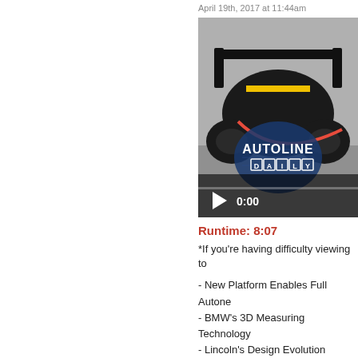April 19th, 2017 at 11:44am
[Figure (screenshot): Autoline Daily video thumbnail showing a Formula 1 car rear view with the Autoline Daily logo overlay and a play button with 0:00 timestamp]
Runtime: 8:07
*If you're having difficulty viewing to
- New Platform Enables Full Autone
- BMW's 3D Measuring Technology
- Lincoln's Design Evolution
- Audi Reveals e-tron Sportback
- Renault's Vision of Future F1 Car
- Chevy's Wild FNR-X Concept
Visit our sponsors to thank them f